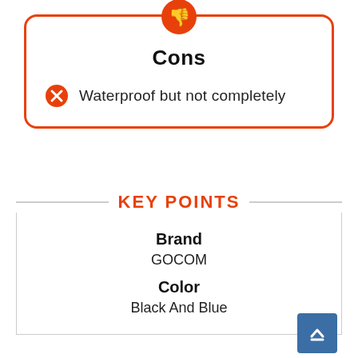Cons
Waterproof but not completely
KEY POINTS
Brand
GOCOM
Color
Black And Blue